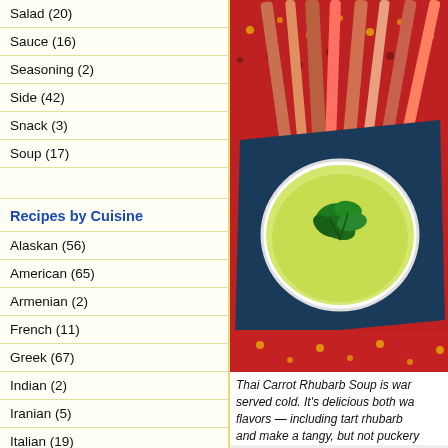Salad (20)
Sauce (16)
Seasoning (2)
Side (42)
Snack (3)
Soup (17)
Recipes by Cuisine
Alaskan (56)
American (65)
Armenian (2)
French (11)
Greek (67)
Indian (2)
Iranian (5)
Italian (19)
Jewish (1)
Korean (3)
Lebanese (2)
[Figure (photo): Photo of a white bowl of Thai Carrot Rhubarb Soup garnished with cilantro leaves, placed on a dark blue napkin over a red patterned tablecloth, with rhubarb stalks in the background.]
Thai Carrot Rhubarb Soup is warm served cold. It’s delicious both wa flavors — including tart rhubarb and make a tangy, but not puckery